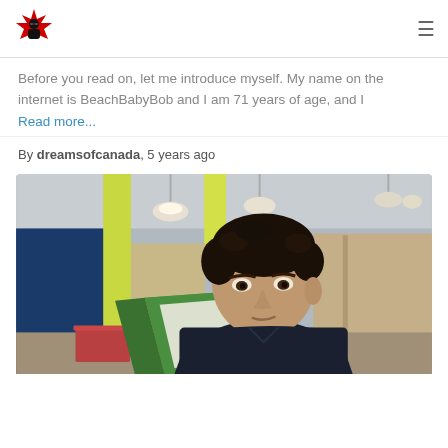dreamsofcanada logo and navigation menu
Before you read on, let me introduce myself. My name on the internet is BeachBabyBob and I am 71 years of age, and I Read more...
By dreamsofcanada, 5 years ago
[Figure (photo): Young man with dark curly hair sitting in a library or study area, reading a green book. Colorful background with yellow-green pillars and study carrels.]